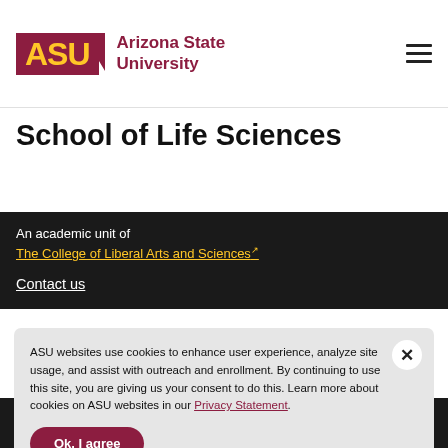[Figure (logo): Arizona State University logo with maroon block letters ASU and gold fork symbol, next to bold maroon text 'Arizona State University']
School of Life Sciences
An academic unit of
The College of Liberal Arts and Sciences
Contact us
ASU websites use cookies to enhance user experience, analyze site usage, and assist with outreach and enrollment. By continuing to use this site, you are giving us your consent to do this. Learn more about cookies on ASU websites in our Privacy Statement.
Ok, I agree
Connect